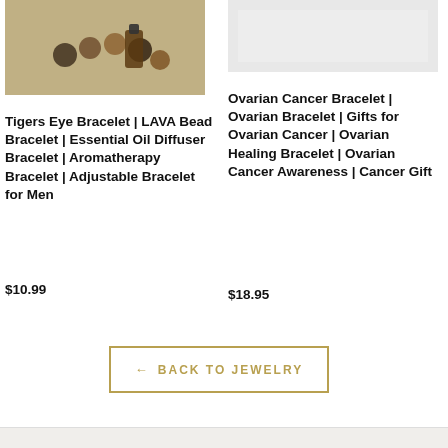[Figure (photo): Product photo of a Tigers Eye and LAVA bead bracelet with essential oil diffuser bottle on a wooden background]
Tigers Eye Bracelet | LAVA Bead Bracelet | Essential Oil Diffuser Bracelet | Aromatherapy Bracelet | Adjustable Bracelet for Men
$10.99
[Figure (photo): Product photo of an Ovarian Cancer awareness bracelet, light background]
Ovarian Cancer Bracelet | Ovarian Bracelet | Gifts for Ovarian Cancer | Ovarian Healing Bracelet | Ovarian Cancer Awareness | Cancer Gift
$18.95
← BACK TO JEWELRY